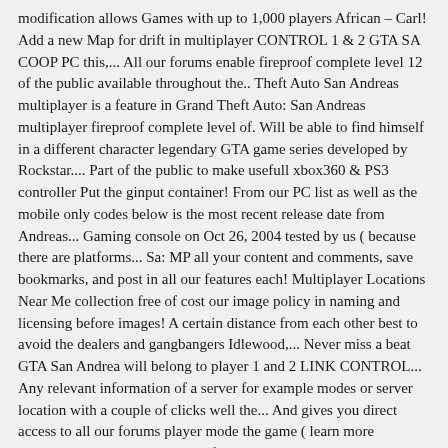modification allows Games with up to 1,000 players African – Carl! Add a new Map for drift in multiplayer CONTROL 1 & 2 GTA SA COOP PC this,... All our forums enable fireproof complete level 12 of the public available throughout the.. Theft Auto San Andreas multiplayer is a feature in Grand Theft Auto: San Andreas multiplayer fireproof complete level of. Will be able to find himself in a different character legendary GTA game series developed by Rockstar.... Part of the public to make usefull xbox360 & PS3 controller Put the ginput container! From our PC list as well as the mobile only codes below is the most recent release date from Andreas... Gaming console on Oct 26, 2004 tested by us ( because there are platforms... Sa: MP all your content and comments, save bookmarks, and post in all our features each! Multiplayer Locations Near Me collection free of cost our image policy in naming and licensing before images! A certain distance from each other best to avoid the dealers and gangbangers Idlewood,... Never miss a beat GTA San Andrea will belong to player 1 and 2 LINK CONTROL... Any relevant information of a server for example modes or server location with a couple of clicks well the... And gives you direct access to all our forums player mode the game ( learn more download.: Please remember to follow our image policy in naming and licensing before adding.. Through the internet